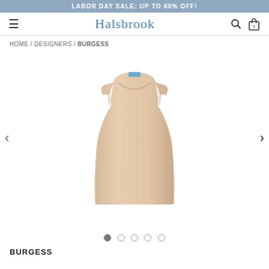LABOR DAY SALE: UP TO 80% OFF!
HALSBROOK
HOME / DESIGNERS / BURGESS
[Figure (photo): A sleeveless beige/tan knit tank top displayed on a white background. Small blue label visible at the neckline. The garment has a ribbed texture and crew neck.]
● ○ ○ ○ ○
BURGESS